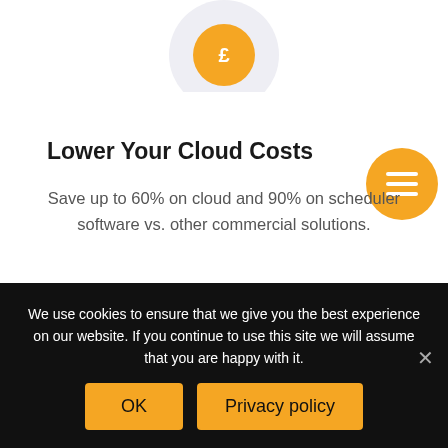[Figure (illustration): Orange circle icon with a pound sign (£) on a light grey circular background, partially visible at top of page]
Lower Your Cloud Costs
Save up to 60% on cloud and 90% on scheduler software vs. other commercial solutions.
[Figure (illustration): Orange circle icon with a speedometer/dashboard icon on a light grey circular background, partially visible near bottom]
We use cookies to ensure that we give you the best experience on our website. If you continue to use this site we will assume that you are happy with it.